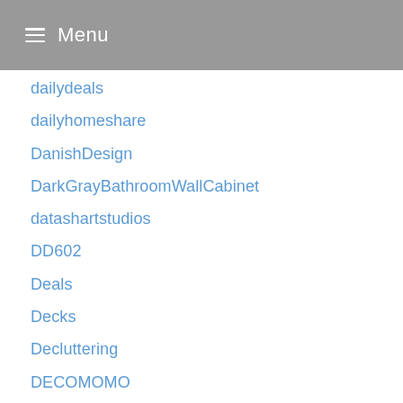Menu
dailydeals
dailyhomeshare
DanishDesign
DarkGrayBathroomWallCabinet
datashartstudios
DD602
Deals
Decks
Decluttering
DECOMOMO
decor
Decorate
Decorating
DecoratingAdvice
Decoration
DecorativeCoatHooksHomeDepot
DecorativeWireShelves